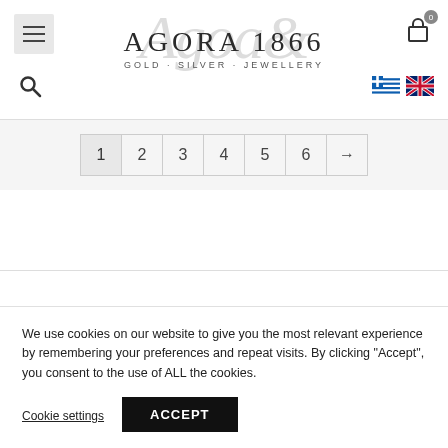[Figure (screenshot): Website header with hamburger menu icon, search icon, AGORA 1866 logo with watermark, cart icon with badge 0, Greek and UK flag icons]
[Figure (other): Pagination controls showing pages 1 2 3 4 5 6 and arrow]
[Figure (other): Filter button with funnel icon]
We use cookies on our website to give you the most relevant experience by remembering your preferences and repeat visits. By clicking “Accept”, you consent to the use of ALL the cookies.
Cookie settings
ACCEPT